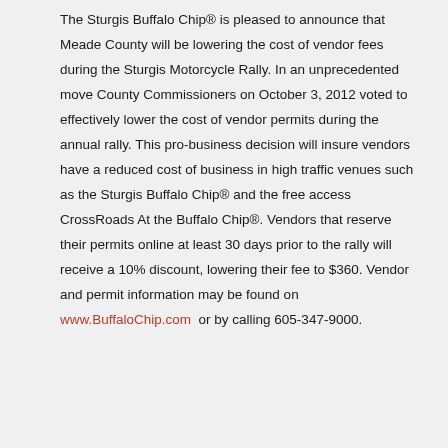The Sturgis Buffalo Chip® is pleased to announce that Meade County will be lowering the cost of vendor fees during the Sturgis Motorcycle Rally. In an unprecedented move County Commissioners on October 3, 2012 voted to effectively lower the cost of vendor permits during the annual rally. This pro-business decision will insure vendors have a reduced cost of business in high traffic venues such as the Sturgis Buffalo Chip® and the free access CrossRoads At the Buffalo Chip®. Vendors that reserve their permits online at least 30 days prior to the rally will receive a 10% discount, lowering their fee to $360. Vendor and permit information may be found on www.BuffaloChip.com or by calling 605-347-9000.